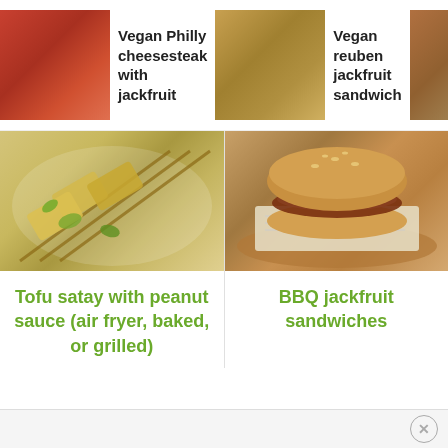[Figure (photo): Navigation strip showing food thumbnails: Vegan Philly cheesesteak with jackfruit, Vegan reuben jackfruit sandwich, Buffalo chickpea sandwich]
Vegan Philly cheesesteak with jackfruit
Vegan reuben jackfruit sandwich
Buffalo chickpea sandwich
[Figure (photo): Photo of tofu satay skewers with peanut sauce on a white plate with herbs]
[Figure (photo): Photo of BBQ jackfruit sandwich on a bun, placed on newspaper on a wooden board]
Tofu satay with peanut sauce (air fryer, baked, or grilled)
BBQ jackfruit sandwiches